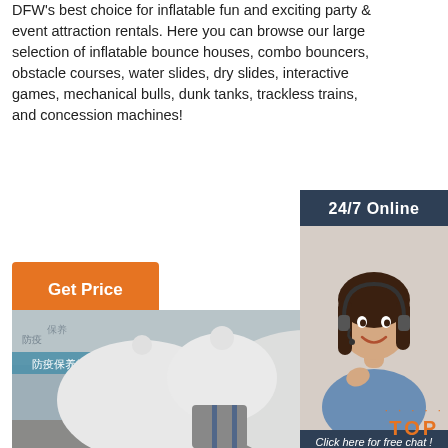DFW's best choice for inflatable fun and exciting party & event attraction rentals. Here you can browse our large selection of inflatable bounce houses, combo bouncers, obstacle courses, water slides, dry slides, interactive games, mechanical bulls, dunk tanks, trackless trains, and concession machines!
24/7 Online
[Figure (photo): Customer service representative woman with headset smiling]
Get Price
Click here for free chat !
QUOTATION
[Figure (photo): White inflatable bounce house tent structure indoors with Chinese banner in background]
TOP